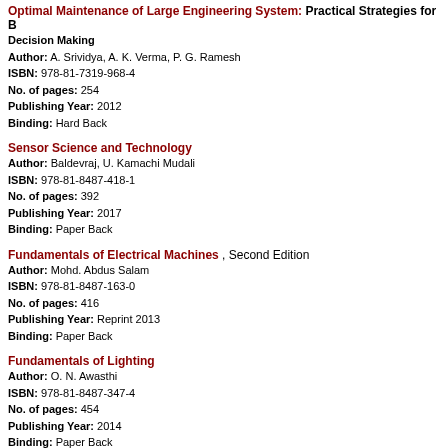Optimal Maintenance of Large Engineering System: Practical Strategies for Decision Making
Author: A. Srividya, A. K. Verma, P. G. Ramesh
ISBN: 978-81-7319-968-4
No. of pages: 254
Publishing Year: 2012
Binding: Hard Back
Sensor Science and Technology
Author: Baldevraj, U. Kamachi Mudali
ISBN: 978-81-8487-418-1
No. of pages: 392
Publishing Year: 2017
Binding: Paper Back
Fundamentals of Electrical Machines, Second Edition
Author: Mohd. Abdus Salam
ISBN: 978-81-8487-163-0
No. of pages: 416
Publishing Year: Reprint 2013
Binding: Paper Back
Fundamentals of Lighting
Author: O. N. Awasthi
ISBN: 978-81-8487-347-4
No. of pages: 454
Publishing Year: 2014
Binding: Paper Back
Principles and Applications of Electrical Engineering
Author: M. A. Salam
ISBN: 978-81-8487-093-0
No. of pages: 494
Publishing Year: 2010
Binding: Paper Back